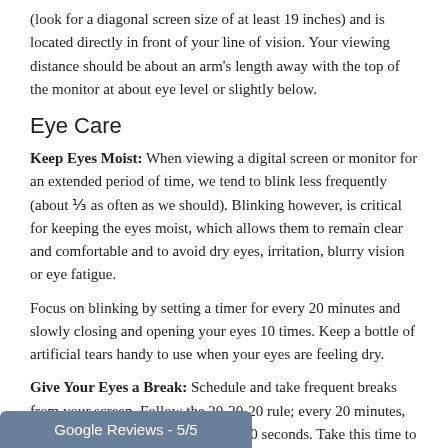(look for a diagonal screen size of at least 19 inches) and is located directly in front of your line of vision. Your viewing distance should be about an arm's length away with the top of the monitor at about eye level or slightly below.
Eye Care
Keep Eyes Moist: When viewing a digital screen or monitor for an extended period of time, we tend to blink less frequently (about ⅓ as often as we should). Blinking however, is critical for keeping the eyes moist, which allows them to remain clear and comfortable and to avoid dry eyes, irritation, blurry vision or eye fatigue.
Focus on blinking by setting a timer for every 20 minutes and slowly closing and opening your eyes 10 times. Keep a bottle of artificial tears handy to use when your eyes are feeling dry.
Give Your Eyes a Break: Schedule and take frequent breaks from your screen. Follow the 20-20-20 rule; every 20 minutes, look at something 20 feet away for 20 seconds. Take this time to stand up and stretch your
Google Reviews - 5/5